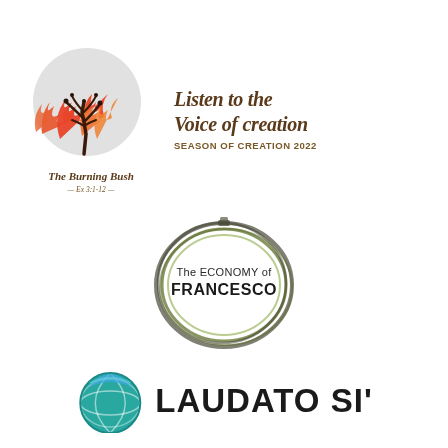[Figure (logo): Season of Creation 2022 logo featuring a burning bush illustration with orange and red flames, a bare tree silhouette on a grey circle background, labeled 'The Burning Bush Ex 3:1-12' below, alongside italic text 'Listen to the Voice of creation' and 'SEASON OF CREATION 2022']
[Figure (logo): The Economy of Francesco logo: circular ring design in dark olive/grey tones encircling the text 'The ECONOMY of FRANCESCO']
[Figure (logo): Laudato Si' logo: a globe icon in teal/blue/green colors alongside bold text 'LAUDATO SI'' in large black letters]